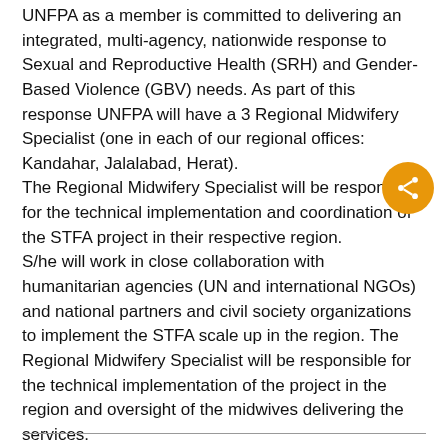UNFPA as a member is committed to delivering an integrated, multi-agency, nationwide response to Sexual and Reproductive Health (SRH) and Gender-Based Violence (GBV) needs. As part of this response UNFPA will have a 3 Regional Midwifery Specialist (one in each of our regional offices: Kandahar, Jalalabad, Herat).
The Regional Midwifery Specialist will be responsible for the technical implementation and coordination of the STFA project in their respective region.
S/he will work in close collaboration with humanitarian agencies (UN and international NGOs) and national partners and civil society organizations to implement the STFA scale up in the region. The Regional Midwifery Specialist will be responsible for the technical implementation of the project in the region and oversight of the midwives delivering the services.